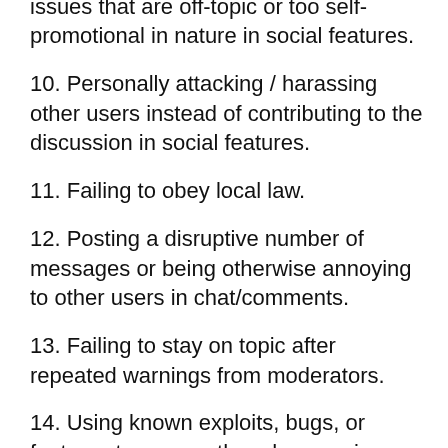9. Being a nuisance by discussing issues that are off-topic or too self-promotional in nature in social features.
10. Personally attacking / harassing other users instead of contributing to the discussion in social features.
11. Failing to obey local law.
12. Posting a disruptive number of messages or being otherwise annoying to other users in chat/comments.
13. Failing to stay on topic after repeated warnings from moderators.
14. Using known exploits, bugs, or features to cause others harm or in